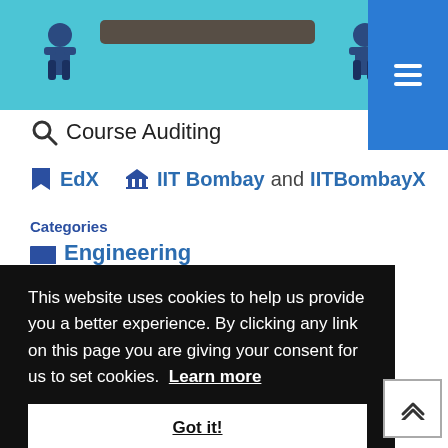[Figure (illustration): Top banner illustration showing a course platform scene with teal/cyan background and cartoon figures]
Course Auditing
EdX  IIT Bombay and IITBombayX
Categories
Engineering
This website uses cookies to help us provide you a better experience. By clicking any link on this page you are giving your consent for us to set cookies.  Learn more
Got it!
This course provides the basic toolkit for